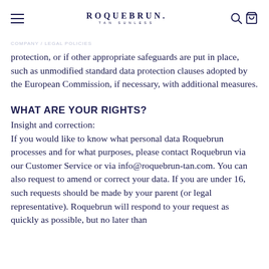ROQUEBRUN. TAN SUNLESS
protection, or if other appropriate safeguards are put in place, such as unmodified standard data protection clauses adopted by the European Commission, if necessary, with additional measures.
WHAT ARE YOUR RIGHTS?
Insight and correction:
If you would like to know what personal data Roquebrun processes and for what purposes, please contact Roquebrun via our Customer Service or via info@roquebrun-tan.com. You can also request to amend or correct your data. If you are under 16, such requests should be made by your parent (or legal representative). Roquebrun will respond to your request as quickly as possible, but no later than